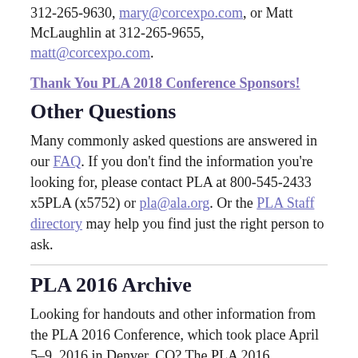312-265-9630, mary@corcexpo.com, or Matt McLaughlin at 312-265-9655, matt@corcexpo.com.
Thank You PLA 2018 Conference Sponsors!
Other Questions
Many commonly asked questions are answered in our FAQ. If you don't find the information you're looking for, please contact PLA at 800-545-2433 x5PLA (x5752) or pla@ala.org. Or the PLA Staff directory may help you find just the right person to ask.
PLA 2016 Archive
Looking for handouts and other information from the PLA 2016 Conference, which took place April 5–9, 2016 in Denver, CO? The PLA 2016 Conference website has been archived at http://2016.placonference.org.